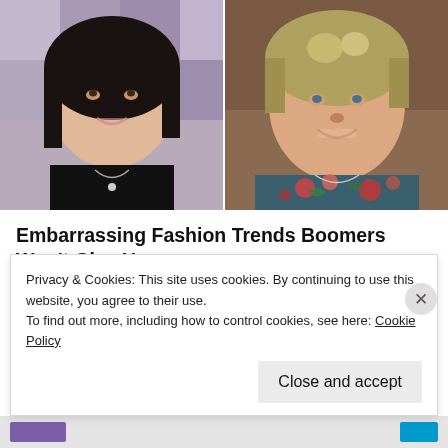[Figure (photo): Two side-by-side photos of women smiling. Left: woman with dark bob haircut wearing a black top and necklace. Right: woman with short highlighted hair wearing a floral top, selfie-style photo.]
Embarrassing Fashion Trends Boomers Won't Give Up
Bon Voyaged
Privacy & Cookies: This site uses cookies. By continuing to use this website, you agree to their use.
To find out more, including how to control cookies, see here: Cookie Policy
Close and accept